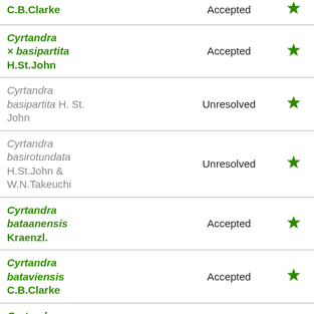| Name | Status |  |
| --- | --- | --- |
| C.B.Clarke | Accepted | ★ |
| Cyrtandra × basipartita H.St.John | Accepted | ★ |
| Cyrtandra basipartita H. St. John | Unresolved | ★ |
| Cyrtandra basirotundata H.St.John & W.N.Takeuchi | Unresolved | ★ |
| Cyrtandra bataanensis Kraenzl. | Accepted | ★ |
| Cyrtandra bataviensis C.B.Clarke | Accepted | ★ |
| Cyrtandra beamanii B.L.Burtt | Accepted | ★ |
| Cyrtandra beccarii C.B.Clarke | Accepted | ★ |